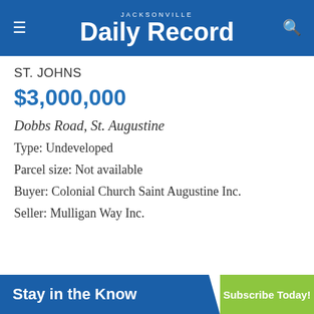JACKSONVILLE Daily Record
ST. JOHNS
$3,000,000
Dobbs Road, St. Augustine
Type: Undeveloped
Parcel size: Not available
Buyer: Colonial Church Saint Augustine Inc.
Seller: Mulligan Way Inc.
Stay in the Know   Subscribe Today!